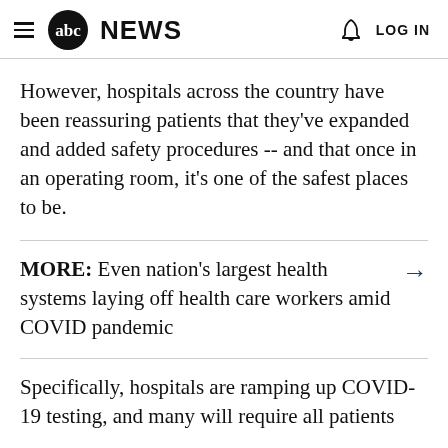abc NEWS  LOG IN
However, hospitals across the country have been reassuring patients that they've expanded and added safety procedures -- and that once in an operating room, it's one of the safest places to be.
MORE: Even nation's largest health systems laying off health care workers amid COVID pandemic →
Specifically, hospitals are ramping up COVID-19 testing, and many will require all patients